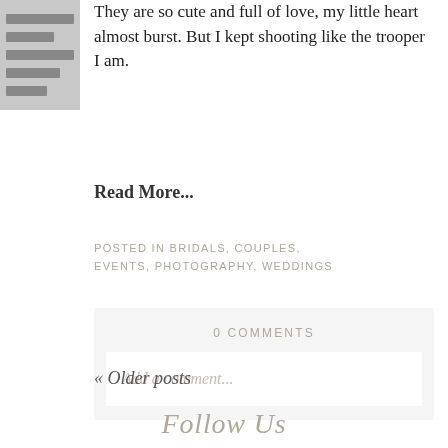[Figure (photo): Small thumbnail image placeholder shown as grey rectangle with horizontal lines]
They are so cute and full of love, my little heart almost burst. But I kept shooting like the trooper I am.
Read More...
POSTED IN BRIDALS, COUPLES, EVENTS, PHOTOGRAPHY, WEDDINGS
0 COMMENTS
Add a comment...
« Older posts
Follow Us